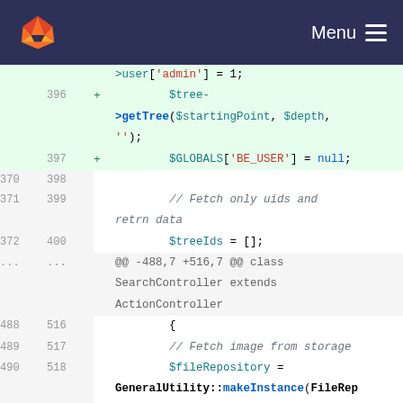[Figure (screenshot): GitLab navigation bar with fox logo and Menu button]
Code diff view showing PHP code changes. Lines 396-397 added (green): $tree->getTree($startingPoint, $depth, ''); and $GLOBALS['BE_USER'] = null; Lines 370-372/398-400: // Fetch only uids and retrn data, $treeIds = []; Hunk header: @@ -488,7 +516,7 @@ class SearchController extends ActionController. Lines 488-490/516-518: {, // Fetch image from storage, $fileRepository = GeneralUtility::makeInstance(FileRepository::class); Line 491 removed (red): $fileObjects = $fileRepository->findByRelation('tx_news_domain_mode...